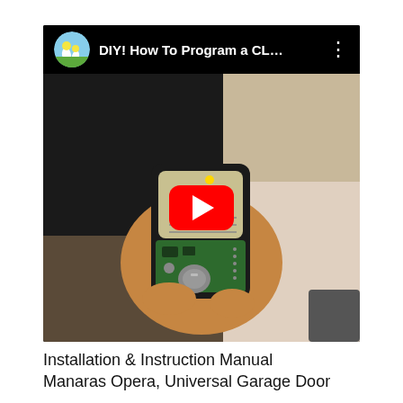[Figure (screenshot): YouTube video thumbnail showing a hand holding an open garage door remote/transmitter circuit board. The video title bar reads 'DIY! How To Program a CL...' with a channel icon (dandelion/flower illustration) and three-dots menu. A red YouTube play button is overlaid in the center of the thumbnail.]
Installation & Instruction Manual
Manaras Opera, Universal Garage Door